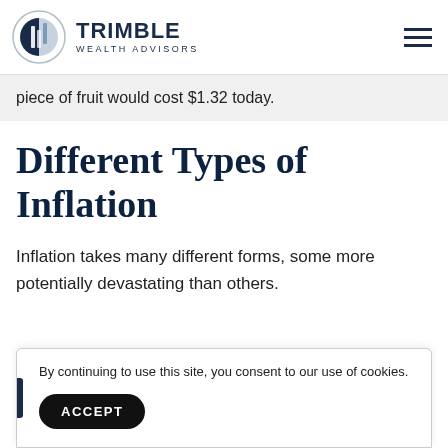TRIMBLE WEALTH ADVISORS
piece of fruit would cost $1.32 today.
Different Types of Inflation
Inflation takes many different forms, some more potentially devastating than others.
By continuing to use this site, you consent to our use of cookies.